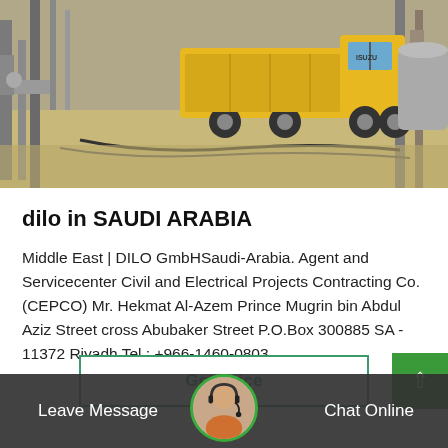[Figure (photo): Construction site photo showing a yellow Isuzu truck and industrial piping/equipment on a dusty work site]
dilo in SAUDI ARABIA
Middle East | DILO GmbHSaudi-Arabia. Agent and Servicecenter Civil and Electrical Projects Contracting Co. (CEPCO) Mr. Hekmat Al-Azem Prince Mugrin bin Abdul Aziz Street cross Abubaker Street P.O.Box 300885 SA - 11372 Riyadh Tel.: +966-1460-0803…
Get Price
Leave Message
Chat Online